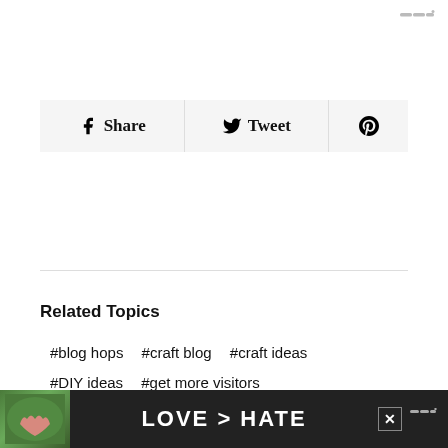[Figure (logo): Website logo mark (three dots/bars icon) in gray, top right]
[Figure (infographic): Share bar with Facebook Share button, Twitter Tweet button, and Pinterest icon button]
Related Topics
#blog hops
#craft blog
#craft ideas
#DIY ideas
#get more visitors
#handmade
#increase blog traffic
#increase followers
#inlinkz
#linkups
#linky parties
#linky tools
[Figure (photo): Advertisement banner: photo of hands forming heart shape with text LOVE > HATE on dark background]